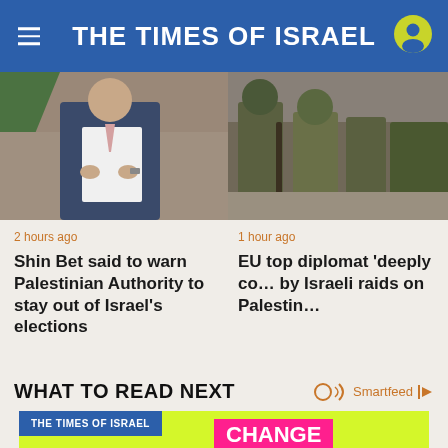THE TIMES OF ISRAEL
[Figure (photo): Photo of a man in a suit reading a document, with a Palestinian flag in background]
[Figure (photo): Photo of soldiers in military gear]
2 hours ago
Shin Bet said to warn Palestinian Authority to stay out of Israel's elections
1 hour ago
EU top diplomat 'deeply co… by Israeli raids on Palestin…
WHAT TO READ NEXT
[Figure (infographic): Advertisement banner for The Times of Israel showing 'CHANGE' with 'JOIN OUR COMMUNITY' and 'Support ToI and remove ads' call to action]